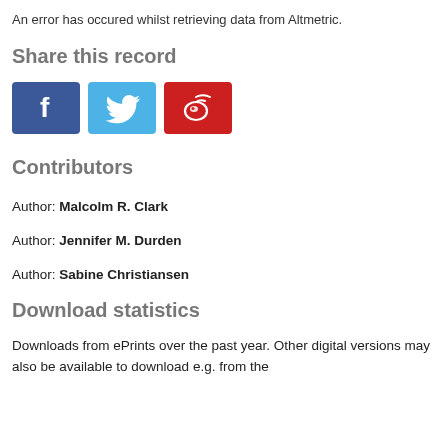An error has occured whilst retrieving data from Altmetric.
Share this record
[Figure (other): Social sharing buttons: Facebook (blue), Twitter (light blue), Weibo (red)]
Contributors
Author: Malcolm R. Clark
Author: Jennifer M. Durden
Author: Sabine Christiansen
Download statistics
Downloads from ePrints over the past year. Other digital versions may also be available to download e.g. from the